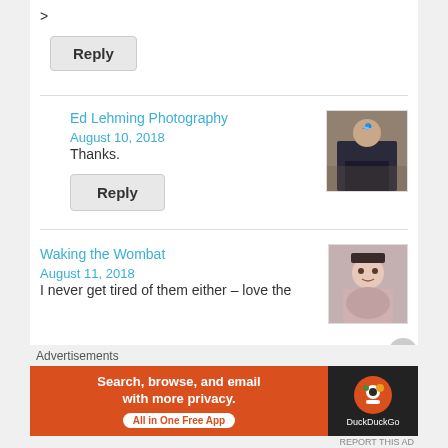>
Reply
Ed Lehming Photography
August 10, 2018
Thanks.
[Figure (photo): Avatar photo of a person standing outdoors near rocks, wearing dark clothing and a cap]
Reply
Waking the Wombat
August 11, 2018
I never get tired of them either – love the
[Figure (photo): Avatar photo of a woman with short dark hair, smiling]
Advertisements
[Figure (screenshot): DuckDuckGo advertisement banner: 'Search, browse, and email with more privacy. All in One Free App' with DuckDuckGo logo]